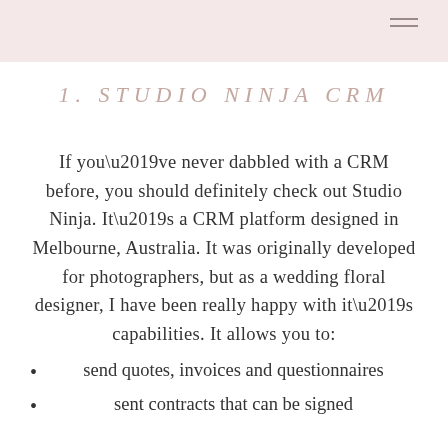1. STUDIO NINJA CRM
If you’ve never dabbled with a CRM before, you should definitely check out Studio Ninja. It’s a CRM platform designed in Melbourne, Australia. It was originally developed for photographers, but as a wedding floral designer, I have been really happy with it’s capabilities. It allows you to:
send quotes, invoices and questionnaires
sent contracts that can be signed